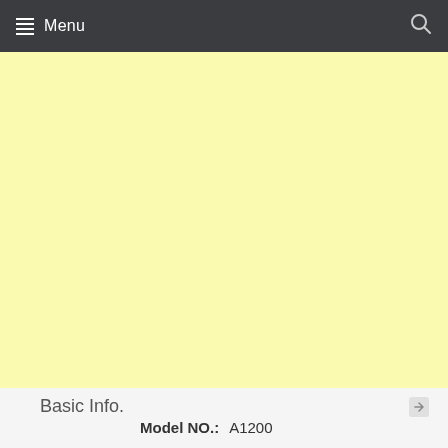Menu
[Figure (other): Yellow/light-yellow background area, placeholder image or advertisement space]
Basic Info.
Model NO.: A1200